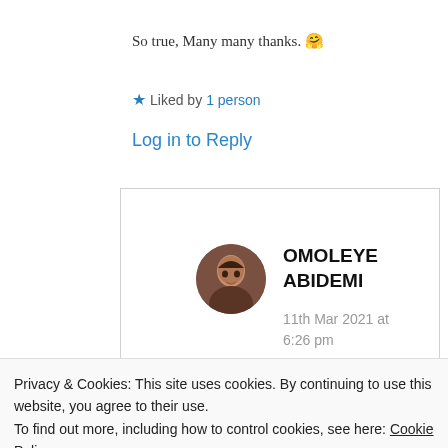So true, Many many thanks. 🤗
★ Liked by 1 person
Log in to Reply
[Figure (photo): Circular avatar photo of OMOLEYE ABIDEMI]
OMOLEYE ABIDEMI
11th Mar 2021 at 6:26 pm
Privacy & Cookies: This site uses cookies. By continuing to use this website, you agree to their use.
To find out more, including how to control cookies, see here: Cookie Policy
Close and accept
Advertisements